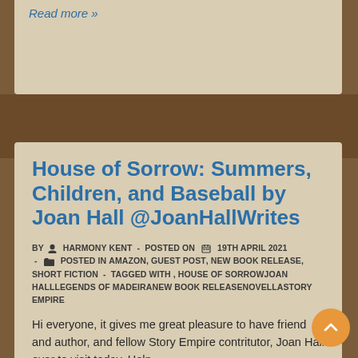Read more »
House of Sorrow: Summers, Children, and Baseball by Joan Hall @JoanHallWrites
BY HARMONY KENT - POSTED ON 19TH APRIL 2021 - POSTED IN AMAZON, GUEST POST, NEW BOOK RELEASE, SHORT FICTION - TAGGED WITH , HOUSE OF SORROWJOAN HALLLEGENDS OF MADEIRANEW BOOK RELEASENOVELLASTORY EMPIRE
Hi everyone, it gives me great pleasure to have friend and author, and fellow Story Empire contritutor, Joan Hall over to visit today. Help